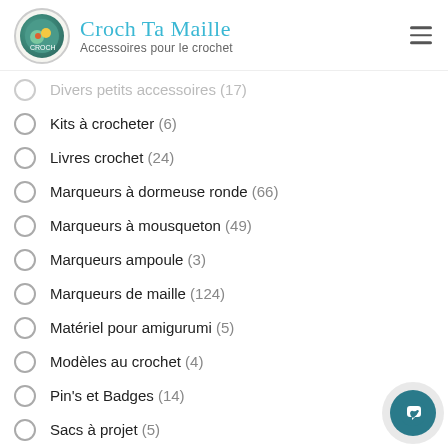Croch Ta Maille — Accessoires pour le crochet
Divers petits accessoires (17)
Kits à crocheter (6)
Livres crochet (24)
Marqueurs à dormeuse ronde (66)
Marqueurs à mousqueton (49)
Marqueurs ampoule (3)
Marqueurs de maille (124)
Matériel pour amigurumi (5)
Modèles au crochet (4)
Pin's et Badges (14)
Sacs à projet (5)